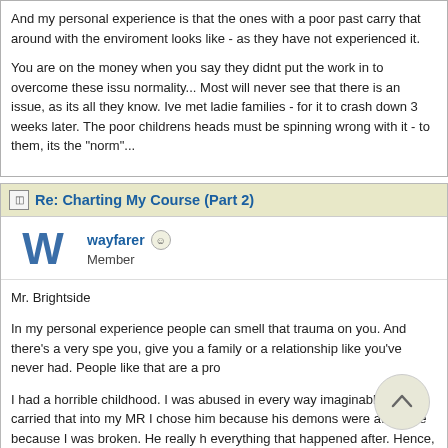And my personal experience is that the ones with a poor past carry that around with them and don't know what a good enviroment looks like - as they have not experienced it.
You are on the money when you say they didnt put the work in to overcome these issues and treat it as their normality... Most will never see that there is an issue, as its all they know. Ive met ladies who claimed perfect families - for it to crash down 3 weeks later. The poor childrens heads must be spinning... and nothing wrong with it - to them, its the "norm"...
Re: Charting My Course (Part 2)
wayfarer
Member
Mr. Brightside
In my personal experience people can smell that trauma on you. And there's a very specific type that will love you, give you a family or a relationship like you've never had. People like that are a pro...
I had a horrible childhood. I was abused in every way imaginable. I carried that into my relationships. With MR I chose him because his demons were attractive because I was broken. He really hurt me and caused everything that happened after. Hence, no more MR.
My past doesn't define who I am as a wife or mother. My past doesn't define who I am...